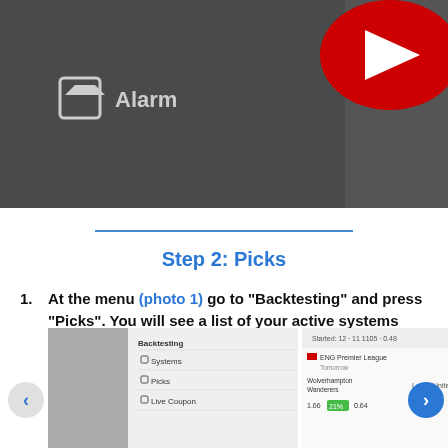[Figure (screenshot): YouTube video thumbnail showing a mobile app interface with a play button overlay, displaying backtesting/alarm menu and sports picks screens]
Step 2: Picks
At the menu (photo 1) go to "Backtesting" and press "Picks". You will see a list of your active systems picks (photo 2)
When there is a new pick you will get notified through the app (photo 3)
[Figure (screenshot): Bottom strip showing three app screenshot thumbnails with navigation arrows, illustrating the Backtesting > Picks menu flow]